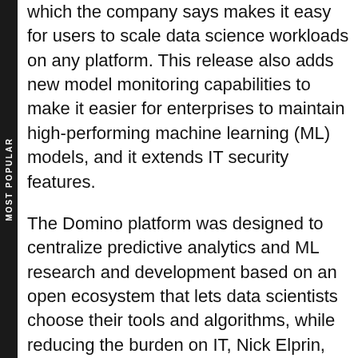which the company says makes it easy for users to scale data science workloads on any platform. This release also adds new model monitoring capabilities to make it easier for enterprises to maintain high-performing machine learning (ML) models, and it extends IT security features.
The Domino platform was designed to centralize predictive analytics and ML research and development based on an open ecosystem that lets data scientists choose their tools and algorithms, while reducing the burden on IT, Nick Elprin, the company's co-founder and CEO, said in a statement.
"Large, sophisticated data science organizations demand flexibility in how they build and deploy their data science stacks," he said. "Adding Red Hat OpenShift to our wide variety of deployment options gives customers even more flexibility to run on almost any cloud provider or on their own on-prem hardware."